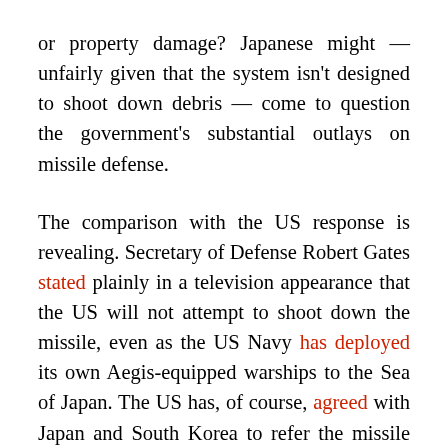or property damage? Japanese might — unfairly given that the system isn't designed to shoot down debris — come to question the government's substantial outlays on missile defense.
The comparison with the US response is revealing. Secretary of Defense Robert Gates stated plainly in a television appearance that the US will not attempt to shoot down the missile, even as the US Navy has deployed its own Aegis-equipped warships to the Sea of Japan. The US has, of course, agreed with Japan and South Korea to refer the missile launch to the UN Security Council as a violation of UN Security Council resolution 1718, but the US has refrained from a premature overreaction to the pending launch, wisely I